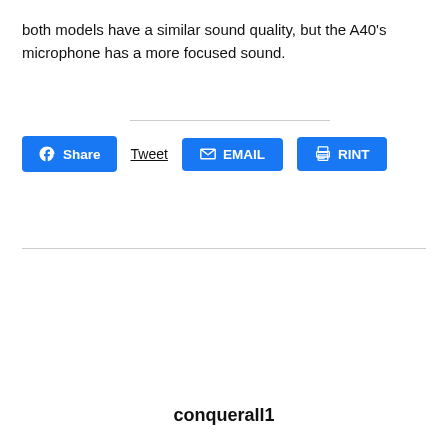both models have a similar sound quality, but the A40's microphone has a more focused sound.
[Figure (other): Social sharing buttons row: Facebook Share button, Tweet text link, EMAIL button, PRINT button]
conquerall1